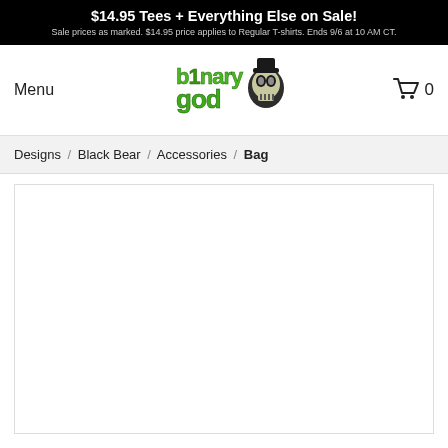$14.95 Tees + Everything Else on Sale! Sale prices as marked. $14.95 price applies to Regular T-shirts. Ends 9/6 at 10 AM CT.
[Figure (logo): Binary Goose / Binary God stylized logo with green lettering and zombie skull mascot]
Menu
0 (cart)
Designs / Black Bear / Accessories / Bag
[Figure (photo): White empty product image area for Black Bear Bag accessory]